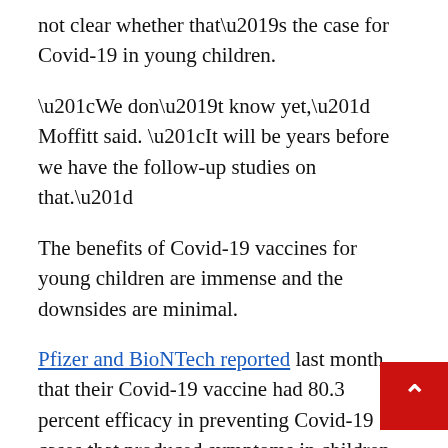not clear whether that's the case for Covid-19 in young children.
“We don’t know yet,” Moffitt said. “It will be years before we have the follow-up studies on that.”
The benefits of Covid-19 vaccines for young children are immense and the downsides are minimal.
Pfizer and BioNTech reported last month that their Covid-19 vaccine had 80.3 percent efficacy in preventing Covid-19 cases that produced symptoms in children under 5 years old. Their children’s vaccine uses a 3-microgram dose, one-tenth of the adult dose, spaced out over three injections. The first two doses are three weeks apart and the third is administered two months